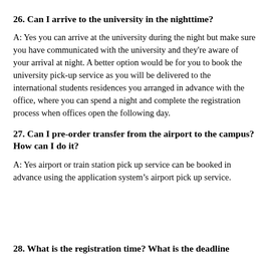26. Can I arrive to the university in the nighttime?
A: Yes you can arrive at the university during the night but make sure you have communicated with the university and they're aware of your arrival at night. A better option would be for you to book the university pick-up service as you will be delivered to the international students residences you arranged in advance with the office, where you can spend a night and complete the registration process when offices open the following day.
27. Can I pre-order transfer from the airport to the campus? How can I do it?
A: Yes airport or train station pick up service can be booked in advance using the application system’s airport pick up service.
28. What is the registration time? What is the deadline